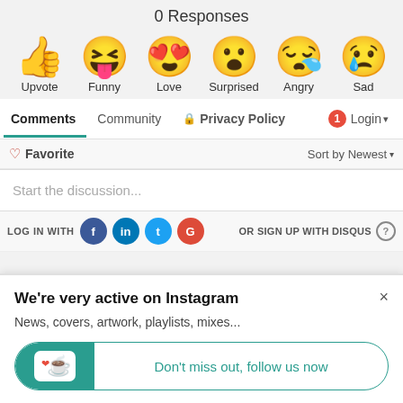0 Responses
[Figure (infographic): Six emoji reaction buttons: Upvote (thumbs up), Funny (laughing face with tongue), Love (heart eyes), Surprised (surprised face), Angry (tired/crying face), Sad (sad face with tear). Each emoji has a label below it.]
Comments | Community | Privacy Policy | Login
Favorite | Sort by Newest
Start the discussion...
LOG IN WITH | OR SIGN UP WITH DISQUS
We're very active on Instagram
News, covers, artwork, playlists, mixes...
Don't miss out, follow us now